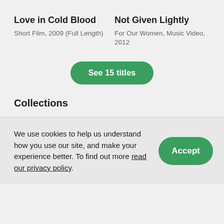Love in Cold Blood
Short Film, 2009 (Full Length)
Not Given Lightly
For Our Women, Music Video, 2012
See 15 titles
Collections
We use cookies to help us understand how you use our site, and make your experience better. To find out more read our privacy policy.
Accept